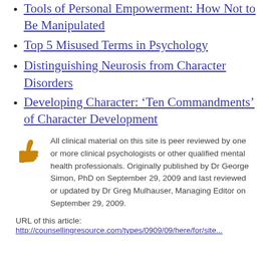Tools of Personal Empowerment: How Not to Be Manipulated
Top 5 Misused Terms in Psychology
Distinguishing Neurosis from Character Disorders
Developing Character: ‘Ten Commandments’ of Character Development
All clinical material on this site is peer reviewed by one or more clinical psychologists or other qualified mental health professionals. Originally published by Dr George Simon, PhD on September 29, 2009 and last reviewed or updated by Dr Greg Mulhauser, Managing Editor on September 29, 2009.
URL of this article:
http://counsellingresource.com/...